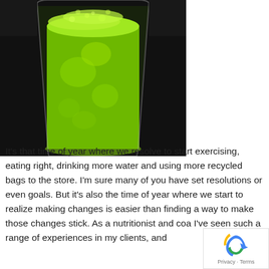[Figure (photo): A glass filled with bright green juice or smoothie, photographed on a dark background. The drink is bubbly and frothy at the top.]
It's that time of year where we resolve to start exercising, eating right, drinking more water and using more recycled bags to the store. I'm sure many of you have set resolutions or even goals. But it's also the time of year where we start to realize making changes is easier than finding a way to make those changes stick. As a nutritionist and coa I've seen such a range of experiences in my clients, and